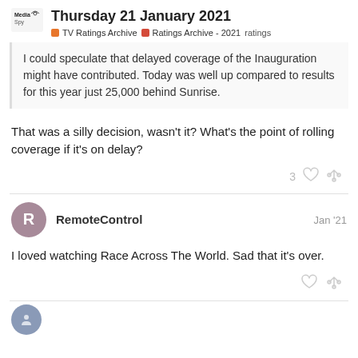Thursday 21 January 2021 · TV Ratings Archive · Ratings Archive - 2021 · ratings
I could speculate that delayed coverage of the Inauguration might have contributed. Today was well up compared to results for this year just 25,000 behind Sunrise.
That was a silly decision, wasn't it? What's the point of rolling coverage if it's on delay?
RemoteControl Jan '21
I loved watching Race Across The World. Sad that it's over.